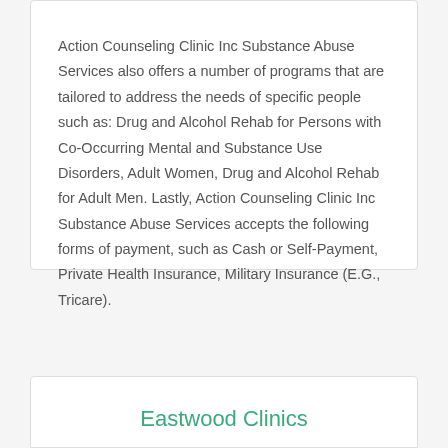Action Counseling Clinic Inc Substance Abuse Services also offers a number of programs that are tailored to address the needs of specific people such as: Drug and Alcohol Rehab for Persons with Co-Occurring Mental and Substance Use Disorders, Adult Women, Drug and Alcohol Rehab for Adult Men. Lastly, Action Counseling Clinic Inc Substance Abuse Services accepts the following forms of payment, such as Cash or Self-Payment, Private Health Insurance, Military Insurance (E.G., Tricare).
Eastwood Clinics